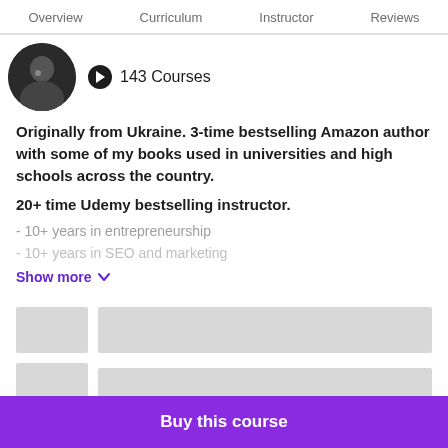Overview   Curriculum   Instructor   Reviews
[Figure (photo): Circular profile photo of instructor, person in dark clothing with hand near chin]
143 Courses
Originally from Ukraine. 3-time bestselling Amazon author with some of my books used in universities and high schools across the country.
20+ time Udemy bestselling instructor.
- 10+ years in entrepreneurship
- 10+ years in SEO and marketing
Show more
[Figure (other): Skeleton loading placeholder rows with grey thumbnail and grey line]
Buy this course